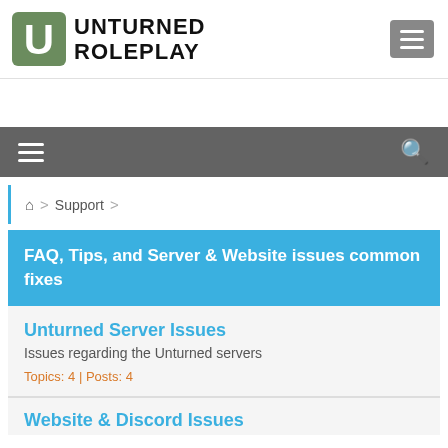[Figure (logo): Unturned Roleplay logo with stylized U icon and bold text]
UNTURNED ROLEPLAY
FAQ, Tips, and Server & Website issues common fixes
Unturned Server Issues
Issues regarding the Unturned servers
Topics: 4  |  Posts: 4
Website & Discord Issues